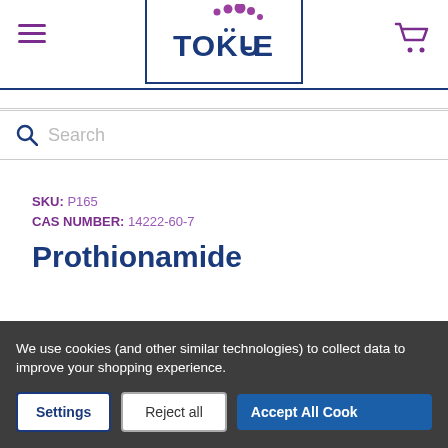[Figure (logo): TOKU-E logo with purple dots above text inside a blue bordered box]
Search
SKU: P165
CAS NUMBER: 14222-60-7
Prothionamide
We use cookies (and other similar technologies) to collect data to improve your shopping experience.